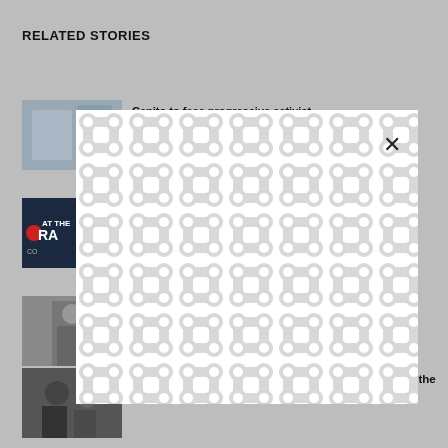RELATED STORIES
[Figure (photo): News story thumbnail image 1 - person with pillows/luggage]
Capito to face progressive activist
[Figure (photo): News story thumbnail image 2 - dark background with text 'AT THE RACE']
...cker
[Figure (photo): News story thumbnail image 3 - person standing outdoors]
...d
[Figure (photo): News story thumbnail image 4 - people at event]
'We were all there on Jan. 6': Manchin, Collins make the case for elections overhaul
[Figure (other): Modal overlay with white background and grey chain-link/bubble pattern, with X close button]